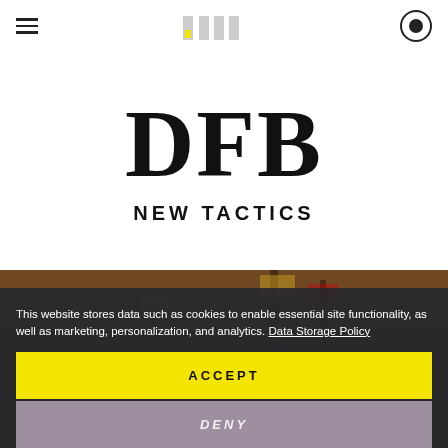[Figure (logo): DFB logo icon - four vertical rectangular bars with yellow highlight on first bar, in the navigation header]
DFB
NEW TACTICS
[Figure (photo): Background photo of crowd with flags in dark reddish-brown tones, partially visible behind cookie consent banner]
This website stores data such as cookies to enable essential site functionality, as well as marketing, personalization, and analytics. Data Storage Policy
ACCEPT
DENY